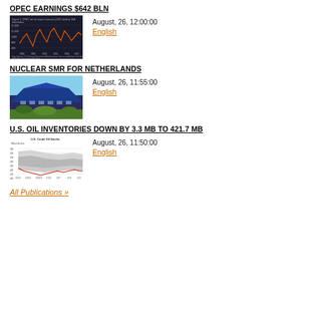OPEC EARNINGS $642 BLN
[Figure (continuous-plot): Line chart showing OPEC net oil export revenues in 2021 dollars over time, with an orange line on a dark background]
August, 26, 12:00:00
English
NUCLEAR SMR FOR NETHERLANDS
[Figure (photo): Photo of a modern building with a large blue angular roof structure surrounded by greenery]
August, 26, 11:55:00
English
U.S. OIL INVENTORIES DOWN BY 3.3 MB TO 421.7 MB
[Figure (continuous-plot): Chart showing U.S. Crude Oil Stocks in million barrels with shaded 5-year range and weekly line]
August, 26, 11:50:00
English
All Publications »